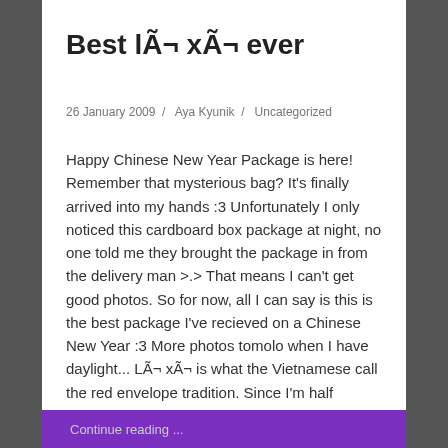Best lÃ¬ xÃ¬ ever
26 January 2009  /  Aya Kyunik  /  Uncategorized
Happy Chinese New Year Package is here! Remember that mysterious bag? It's finally arrived into my hands :3 Unfortunately I only noticed this cardboard box package at night, no one told me they brought the package in from the delivery man >.> That means I can't get good photos. So for now, all I can say is this is the best package I've recieved on a Chinese New Year :3 More photos tomolo when I have daylight... LÃ¬ xÃ¬ is what the Vietnamese call the red envelope tradition. Since I'm half Vietnamese I thought it was appropriate :3
Continue reading ...